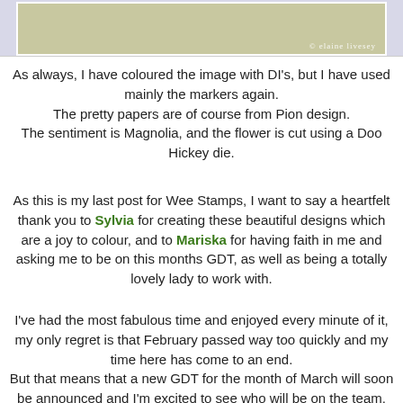[Figure (photo): Partial view of a crafted card image with copyright watermark '© elaine livesey' over a beige/cream colored card background on a light purple/grey surface.]
As always, I have coloured the image with DI's, but I have used mainly the markers again.
The pretty papers are of course from Pion design.
The sentiment is Magnolia, and the flower is cut using a Doo Hickey die.
As this is my last post for Wee Stamps, I want to say a heartfelt thank you to Sylvia for creating these beautiful designs which are a joy to colour, and to Mariska for having faith in me and asking me to be on this months GDT, as well as being a totally lovely lady to work with.
I've had the most fabulous time and enjoyed every minute of it, my only regret is that February passed way too quickly and my time here has come to an end.
But that means that a new GDT for the month of March will soon be announced and I'm excited to see who will be on the team, and I know that they will have a fabulous time :)